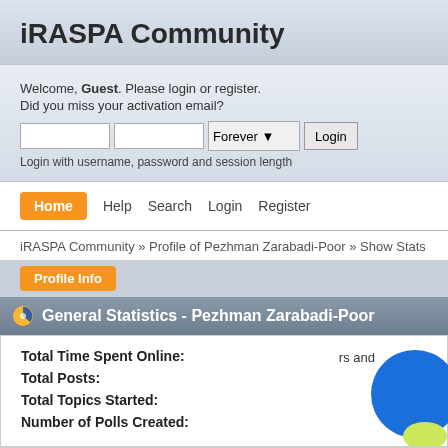iRASPA Community
Welcome, Guest. Please login or register. Did you miss your activation email?
Login with username, password and session length
Home  Help  Search  Login  Register
iRASPA Community » Profile of Pezhman Zarabadi-Poor » Show Stats
General Statistics - Pezhman Zarabadi-Poor
Total Time Spent Online: [value obscured] hrs and
Total Posts:
Total Topics Started:
Number of Polls Created: 0 polls